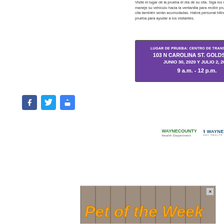Visite el lugar de la prueba el día de su cita. Siga los rótulos en el lugar y maneje su vehículo hacia la ventanilla para recibir prueba. Personas sin cita también serán acomodadas. Habrá personal bilingüe en el lugar de la prueba para ayudar a los visitantes.
[Figure (infographic): Purple box with white text announcing COVID test site location: LUGAR DE PRUEBA: CENTRO DE TRANSITO GWTA, 103 N CAROLINA ST. GOLDSBORO, JUNIO 30, 2020 Y JULIO 2, 2020, 9 a.m. - 12 p.m.]
[Figure (logo): Wayne County Health Department logo and UNC Wayne Health Care logo side by side]
[Figure (infographic): Social media share buttons: Facebook, Twitter, and a general share button]
[Figure (infographic): Advertisement banner: Pet of the Week, with wood background texture and orange italic text]